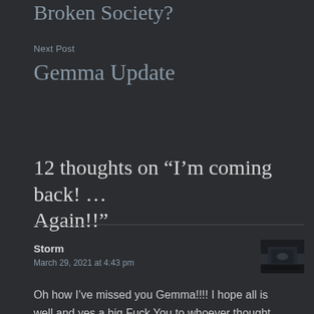Broken Society?
Next Post
Gemma Update
12 thoughts on “I’m coming back! … Again!!”
Storm
March 29, 2021 at 4:43 pm
[Figure (photo): Small avatar image showing a dark outdoor or night scene]
Oh how I’ve missed you Gemma!!!! I hope all is well and yes a big Fuck You to whoever thought they could